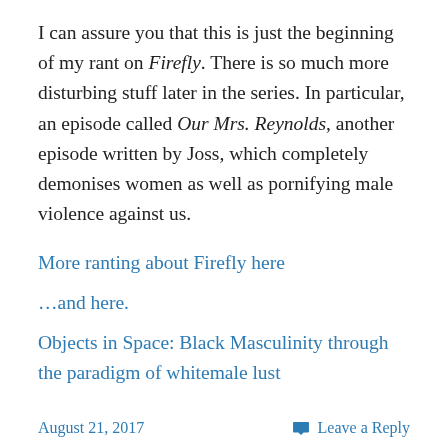I can assure you that this is just the beginning of my rant on Firefly. There is so much more disturbing stuff later in the series. In particular, an episode called Our Mrs. Reynolds, another episode written by Joss, which completely demonises women as well as pornifying male violence against us.
More ranting about Firefly here
…and here.
Objects in Space: Black Masculinity through the paradigm of whitemale lust
August 21, 2017
Leave a Reply
White Supremacy, Feminism